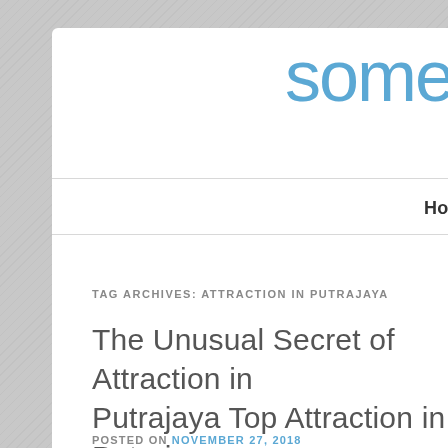some
Home   About   Blog
TAG ARCHIVES: ATTRACTION IN PUTRAJAYA
The Unusual Secret of Attraction in Putrajaya Top Attraction in Putrajaya Choices
POSTED ON NOVEMBER 27, 2018